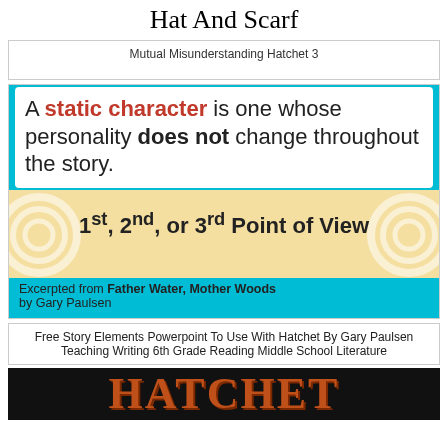Hat And Scarf
Mutual Misunderstanding Hatchet 3
[Figure (infographic): Educational slide showing definition: A static character is one whose personality does not change throughout the story. Features cyan border and white content area. Below is a Point of View slide with tan/yellow background with decorative circles, showing 1st, 2nd, or 3rd Point of View, and text 'Excerpted from Father Water, Mother Woods by Gary Paulsen']
Free Story Elements Powerpoint To Use With Hatchet By Gary Paulsen Teaching Writing 6th Grade Reading Middle School Literature
[Figure (photo): Book cover showing 'HATCHET' in large orange/brown letters on a black background]